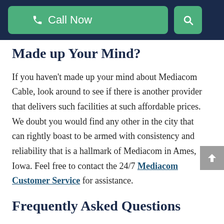Call Now | Search
Made up Your Mind?
If you haven’t made up your mind about Mediacom Cable, look around to see if there is another provider that delivers such facilities at such affordable prices. We doubt you would find any other in the city that can rightly boast to be armed with consistency and reliability that is a hallmark of Mediacom in Ames, Iowa. Feel free to contact the 24/7 Mediacom Customer Service for assistance.
Frequently Asked Questions